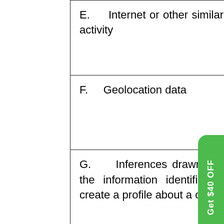| E.    Internet or other similar network activity | Browsing history, search history, information on a consumer's interaction with a website, application, or advertisement. |
| F.    Geolocation data | Physical location. |
| G.    Inferences drawn from any of the information identified above to create a profile about a consumer | Product preferences, frequency of orders, household size, and other items that concern a consumer |